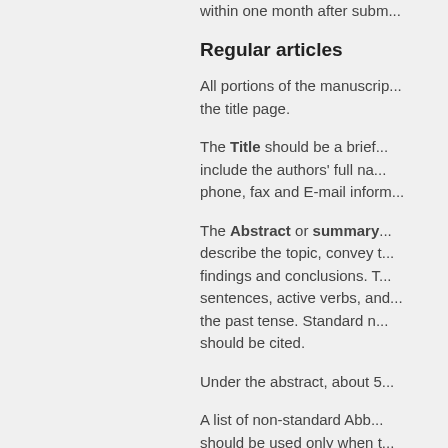within one month after subm...
Regular articles
All portions of the manuscrip... the title page.
The Title should be a brief... include the authors' full na... phone, fax and E-mail inform...
The Abstract or summary... describe the topic, convey t... findings and conclusions. T... sentences, active verbs, and... the past tense. Standard n... should be cited.
Under the abstract, about 5...
A list of non-standard Abb... should be used only when t... spelt out and introduced in... units should be used.